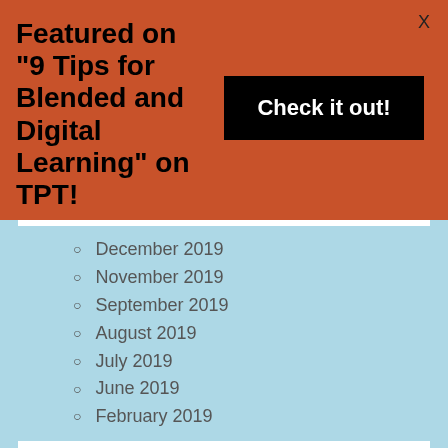Featured on "9 Tips for Blended and Digital Learning" on TPT!
Check it out!
December 2019
November 2019
September 2019
August 2019
July 2019
June 2019
February 2019
Powered by WordPress.com